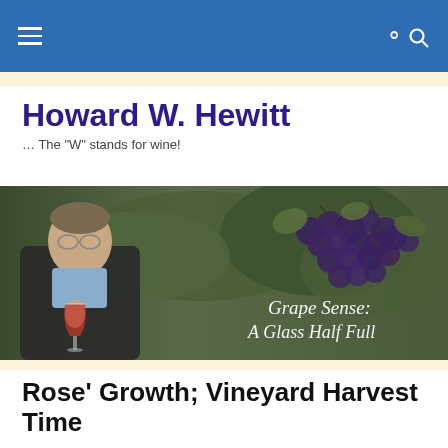Howard W. Hewitt — navigation bar
Howard W. Hewitt
… The "W" stands for wine!
[Figure (photo): Banner photo of a man holding a glass of red wine in front of grapevines with the text 'Grape Sense: A Glass Half Full' overlaid in cursive script]
Rose' Growth; Vineyard Harvest Time
Long-time Grape Sense readers know of my passion for